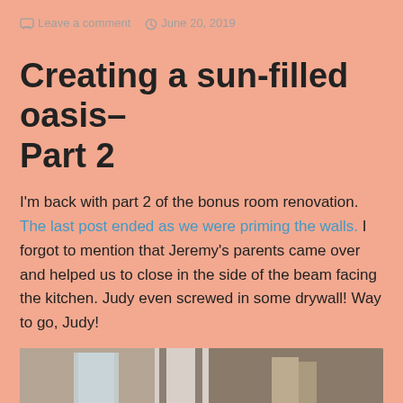Leave a comment   June 20, 2019
Creating a sun-filled oasis– Part 2
I'm back with part 2 of the bonus room renovation. The last post ended as we were priming the walls. I forgot to mention that Jeremy's parents came over and helped us to close in the side of the beam facing the kitchen. Judy even screwed in some drywall! Way to go, Judy!
[Figure (photo): Partial view of a room renovation showing walls, a window, and wooden beams]